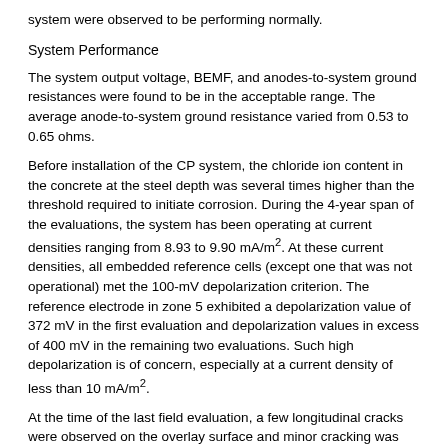system were observed to be performing normally.
System Performance
The system output voltage, BEMF, and anodes-to-system ground resistances were found to be in the acceptable range. The average anode-to-system ground resistance varied from 0.53 to 0.65 ohms.
Before installation of the CP system, the chloride ion content in the concrete at the steel depth was several times higher than the threshold required to initiate corrosion. During the 4-year span of the evaluations, the system has been operating at current densities ranging from 8.93 to 9.90 mA/m2. At these current densities, all embedded reference cells (except one that was not operational) met the 100-mV depolarization criterion. The reference electrode in zone 5 exhibited a depolarization value of 372 mV in the first evaluation and depolarization values in excess of 400 mV in the remaining two evaluations. Such high depolarization is of concern, especially at a current density of less than 10 mA/m2.
At the time of the last field evaluation, a few longitudinal cracks were observed on the overlay surface and minor cracking was evident on the sidewalks and deck underside. Hollow-sounding areas were detected in all evaluations in zone 5. System installation reports indicate that disbondment of the thin overlay installed on the sidewalks has been a problem from the time of the system installation. In conjunction with the high polarization values for zone 5, this suggests that disbondment of the overlay is concentrating the current in that zone to sections with good bond, hence the high depolarization values.